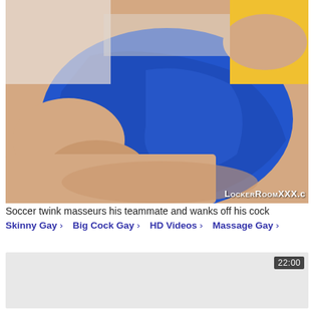[Figure (photo): Close-up photo of a person wearing blue soccer shorts and a yellow jersey, with hands performing a massage on their lower back/glutes area. LockerRoomXXX.c watermark visible in bottom right.]
Soccer twink masseurs his teammate and wanks off his cock
Skinny Gay › Big Cock Gay › HD Videos › Massage Gay ›
[Figure (photo): Partially visible second video thumbnail card with gray background and a duration badge showing 22:00 in top right corner.]